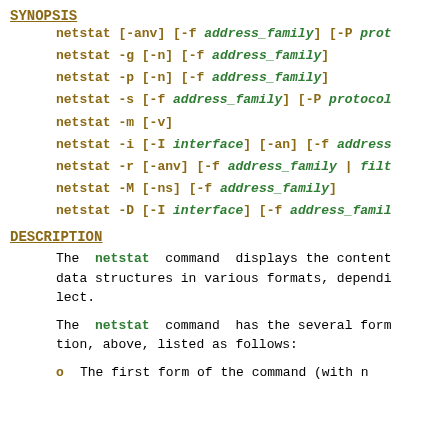SYNOPSIS
netstat [-anv] [-f address_family] [-P protocol]
netstat -g [-n] [-f address_family]
netstat -p [-n] [-f address_family]
netstat -s [-f address_family] [-P protocol]
netstat -m [-v]
netstat -i [-I interface] [-an] [-f address_family]
netstat -r [-anv] [-f address_family | filter]
netstat -M [-ns] [-f address_family]
netstat -D [-I interface] [-f address_family]
DESCRIPTION
The netstat command displays the contents of certain network-related data structures in various formats, depending on the options you select.
The netstat command has the several forms, shown in the SYNOPSIS section, above, listed as follows:
o  The first form of the command (with no arguments or with the -anv option(s)) ...